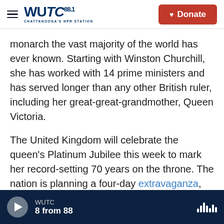WUTC 88.1 CHATTANOOGA'S NPR STATION | Donate
monarch the vast majority of the world has ever known. Starting with Winston Churchill, she has worked with 14 prime ministers and has served longer than any other British ruler, including her great-great-grandmother, Queen Victoria.
The United Kingdom will celebrate the queen's Platinum Jubilee this week to mark her record-setting 70 years on the throne. The nation is planning a four-day extravaganza, starting Thursday with the Trooping the Color, a parade that will include 1,400 soldiers, 200 horses and 400 musicians.
WUTC | 8 from 88